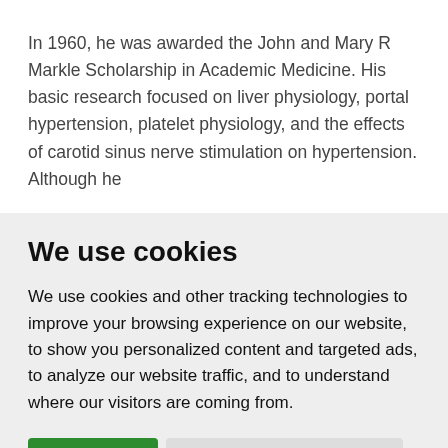In 1960, he was awarded the John and Mary R Markle Scholarship in Academic Medicine. His basic research focused on liver physiology, portal hypertension, platelet physiology, and the effects of carotid sinus nerve stimulation on hypertension. Although he
We use cookies
We use cookies and other tracking technologies to improve your browsing experience on our website, to show you personalized content and targeted ads, to analyze our website traffic, and to understand where our visitors are coming from.
I agree   Change my preferences